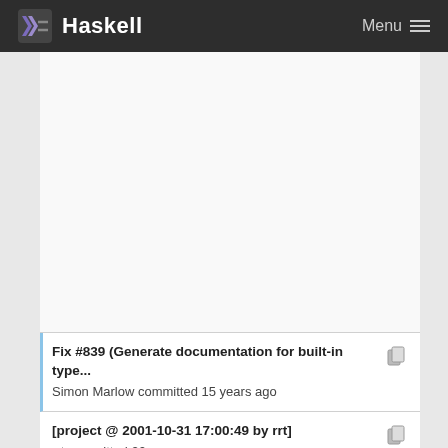Haskell  Menu
Fix #839 (Generate documentation for built-in type...
Simon Marlow committed 15 years ago
[project @ 2001-10-31 17:00:49 by rrt]
rrt committed 20 years ago
[project @ 2001-08-17 17:18:51 by apt]
apt committed 21 years ago
[project @ 2001-10-31 17:00:49 by rrt]
rrt committed 20 years ago